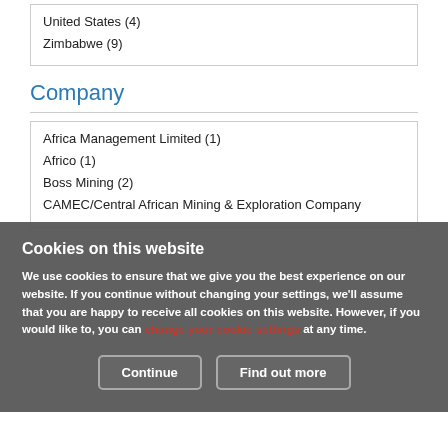United States (4)
Zimbabwe (9)
Company
Africa Management Limited (1)
Africo (1)
Boss Mining (2)
CAMEC/Central African Mining & Exploration Company
Cookies on this website

We use cookies to ensure that we give you the best experience on our website. If you continue without changing your settings, we'll assume that you are happy to receive all cookies on this website. However, if you would like to, you can change your cookie settings at any time.
Continue
Find out more